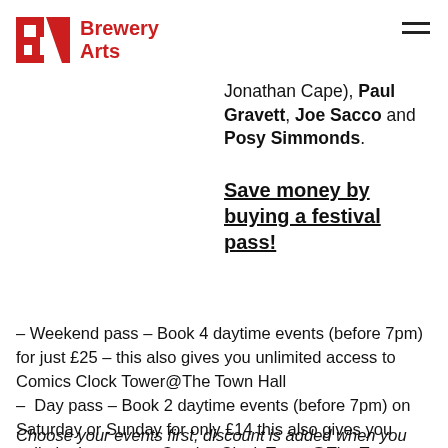Brewery Arts
Jonathan Cape), Paul Gravett, Joe Sacco and Posy Simmonds.
Save money by buying a festival pass!
– Weekend pass – Book 4 daytime events (before 7pm) for just £25 – this also gives you unlimited access to Comics Clock Tower@The Town Hall
–  Day pass – Book 2 daytime events (before 7pm) on Saturday or Sunday for only £14 this also gives you unlimited access to Comics Clock Tower@The Town Hall.
Choose your events first, discount is added when you